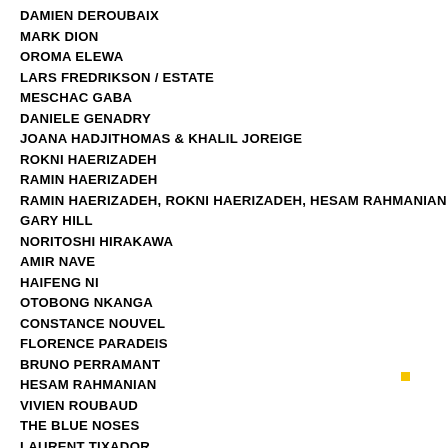DAMIEN DEROUBAIX
MARK DION
OROMA ELEWA
LARS FREDRIKSON / ESTATE
MESCHAC GABA
DANIELE GENADRY
JOANA HADJITHOMAS & KHALIL JOREIGE
ROKNI HAERIZADEH
RAMIN HAERIZADEH
RAMIN HAERIZADEH, ROKNI HAERIZADEH, HESAM RAHMANIAN
GARY HILL
NORITOSHI HIRAKAWA
AMIR NAVE
HAIFENG NI
OTOBONG NKANGA
CONSTANCE NOUVEL
FLORENCE PARADEIS
BRUNO PERRAMANT
HESAM RAHMANIAN
VIVIEN ROUBAUD
THE BLUE NOSES
LAURENT TIXADOR
PATRICK TOSANI